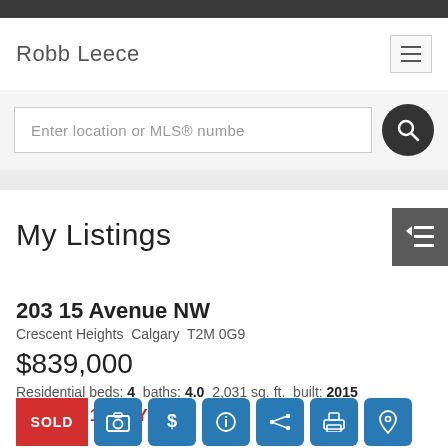Robb Leece
Enter location or MLS® number
My Listings
203 15 Avenue NW
Crescent Heights  Calgary  T2M 0G9
$839,000
Residential beds: 4 baths: 4.0  2,031 sq. ft.  built: 2015
SOLD IN 19 DAYS!